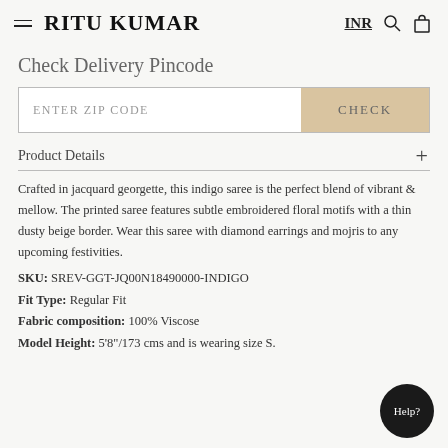RITU KUMAR
Check Delivery Pincode
ENTER ZIP CODE
CHECK
Product Details
Crafted in jacquard georgette, this indigo saree is the perfect blend of vibrant & mellow. The printed saree features subtle embroidered floral motifs with a thin dusty beige border. Wear this saree with diamond earrings and mojris to any upcoming festivities.
SKU: SREV-GGT-JQ00N18490000-INDIGO
Fit Type: Regular Fit
Fabric composition: 100% Viscose
Model Height: 5'8"/173 cms and is wearing size S.